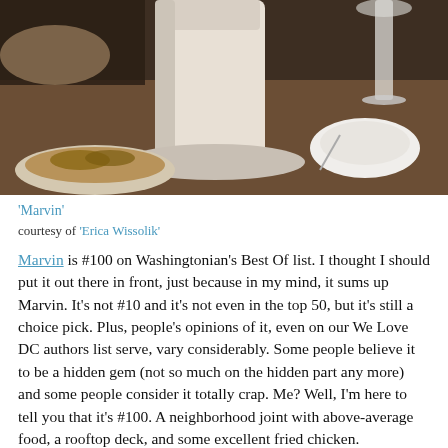[Figure (photo): Close-up photo of food and drinks on a table, including a milkshake or cream drink, a baked dish with toppings, a wine glass, and a white bowl.]
'Marvin'
courtesy of 'Erica Wissolik'
Marvin is #100 on Washingtonian's Best Of list. I thought I should put it out there in front, just because in my mind, it sums up Marvin. It's not #10 and it's not even in the top 50, but it's still a choice pick. Plus, people's opinions of it, even on our We Love DC authors list serve, vary considerably. Some people believe it to be a hidden gem (not so much on the hidden part any more) and some people consider it totally crap. Me? Well, I'm here to tell you that it's #100. A neighborhood joint with above-average food, a rooftop deck, and some excellent fried chicken.